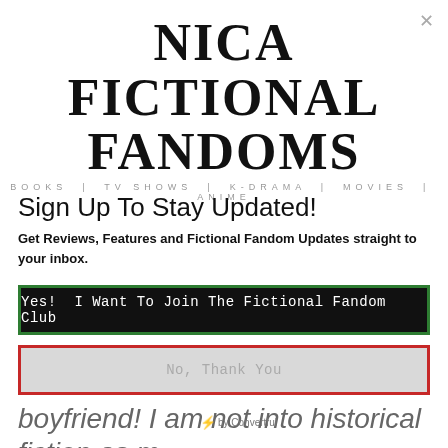NICA FICTIONAL FANDOMS
BOOKS | TV SHOWS | K-DRAMA | MOVIES | ANIME
Sign Up To Stay Updated!
Get Reviews, Features and Fictional Fandom Updates straight to your inbox.
Yes!  I Want To Join The Fictional Fandom Club
No, Thank You
boyfriend! I am not into historical fiction as much as I'd like to be. However, I had suggested him Persepolis a few years ago and he